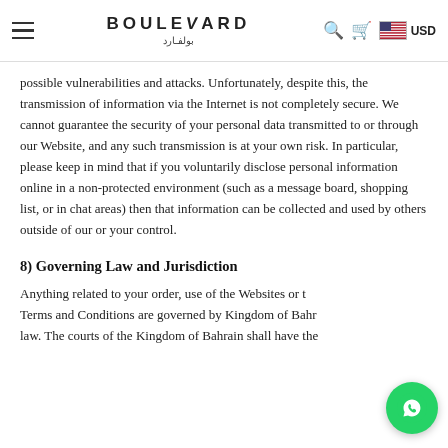BOULEVARD بولفارد — USD
possible vulnerabilities and attacks. Unfortunately, despite this, the transmission of information via the Internet is not completely secure. We cannot guarantee the security of your personal data transmitted to or through our Website, and any such transmission is at your own risk. In particular, please keep in mind that if you voluntarily disclose personal information online in a non-protected environment (such as a message board, shopping list, or in chat areas) then that information can be collected and used by others outside of our or your control.
8) Governing Law and Jurisdiction
Anything related to your order, use of the Websites or the Terms and Conditions are governed by Kingdom of Bahrain's law. The courts of the Kingdom of Bahrain shall have the